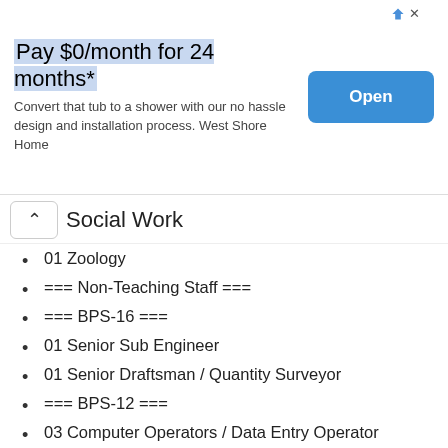[Figure (other): Advertisement banner: Pay $0/month for 24 months* - Convert that tub to a shower with our no hassle design and installation process. West Shore Home. Open button.]
Social Work
01 Zoology
=== Non-Teaching Staff ===
=== BPS-16 ===
01 Senior Sub Engineer
01 Senior Draftsman / Quantity Surveyor
=== BPS-12 ===
03 Computer Operators / Data Entry Operator
=== BPS-11 ===
01 Photographer
05 Junior Clerks
=== BPS-09 ===
05 Junior Library Assistant
=== BPS-06 ===
01 Lab. Still Studio Assistant
=== BPS-05 ===
01 Lab Technician